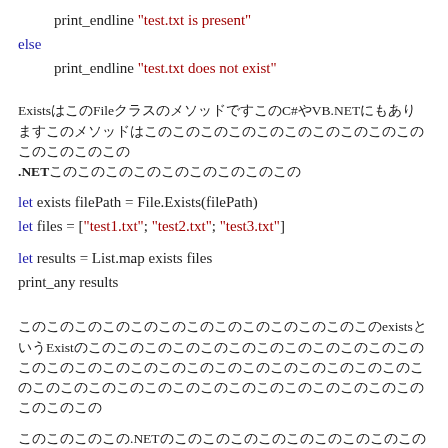print_endline "test.txt is present"
else
    print_endline "test.txt does not exist"
ExistsはFileクラスのメソッドです。C#やVB.NETにもあります。このメソッドは.NETのクロスプラットフォームです。
let exists filePath = File.Exists(filePath)
let files = ["test1.txt"; "test2.txt"; "test3.txt"]

let results = List.map exists files
print_any results
このコードでは、部分適用を使ってexistsというExistsのラッパー関数を作っています。
なお、.NETのコードはIDEで補完できます。VSの場合はCtrl+K, PでF#の補完が...